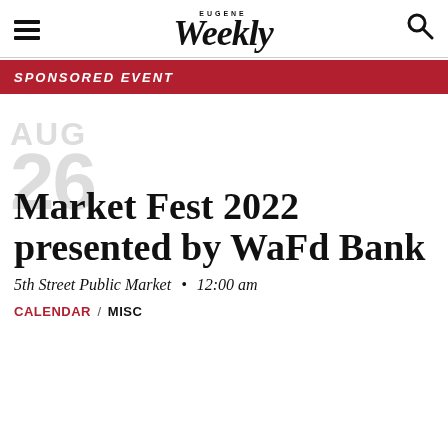Eugene Weekly
SPONSORED EVENT
Market Fest 2022 presented by WaFd Bank
5th Street Public Market • 12:00 am
CALENDAR / MISC